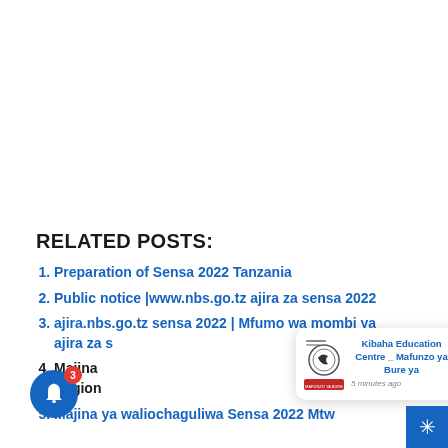RELATED POSTS:
Preparation of Sensa 2022 Tanzania
Public notice |www.nbs.go.tz ajira za sensa 2022
ajira.nbs.go.tz sensa 2022 | Mfumo wa mombi ya ajira za s…
Majina … Region
Majina ya waliochaguliwa Sensa 2022 Mtw…
[Figure (screenshot): Notification popup showing Kibaha Education Centre - Mafunzo ya Bure ya, posted 5 minutes ago, with a logo image of a bird/organization seal and a red banner, overlaying the list.]
[Figure (other): Blue circular bell notification button with red badge showing '3' in bottom-left corner, and blue star/asterisk button in bottom-right corner.]